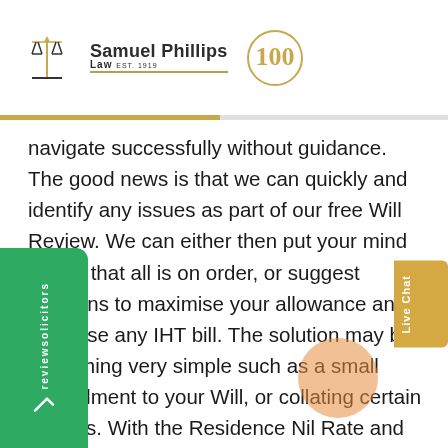Samuel Phillips Law EST. 1919 [100 years logo]
navigate successfully without guidance. The good news is that we can quickly and identify any issues as part of our free Will Review. We can either then put your mind at rest that all is on order, or suggest solutions to maximise your allowance and minimise any IHT bill. The solution may be something very simple such as a small amendment to your Will, or collating certain records. With the Residence Nil Rate and providing a reduction to your inheritance tax bill up to £70,000 per person (£140,000 per couple) it really is worth making sure that you have everything in place for your family to quickly and easily make a claim on your death.